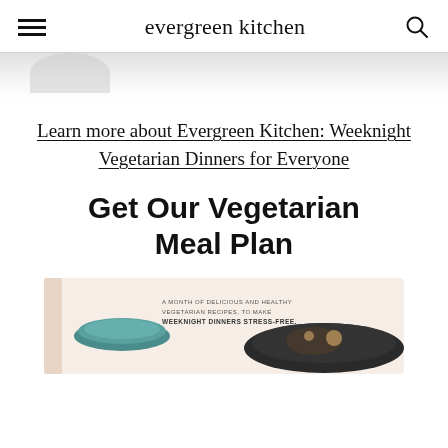evergreen kitchen
[Figure (photo): Partial top of a food photo, showing a blurred gray/dark element at the top of the page, cropped]
Learn more about Evergreen Kitchen: Weeknight Vegetarian Dinners for Everyone
Get Our Vegetarian Meal Plan
[Figure (photo): A book cover or meal plan booklet showing a teal bowl and a dark plate with food items, with text reading 'A MONTH OF DELICIOUS AND HEALTHY VEGETARIAN RECIPES, TO MAKE WEEKNIGHT DINNERS STRESS-FREE.']